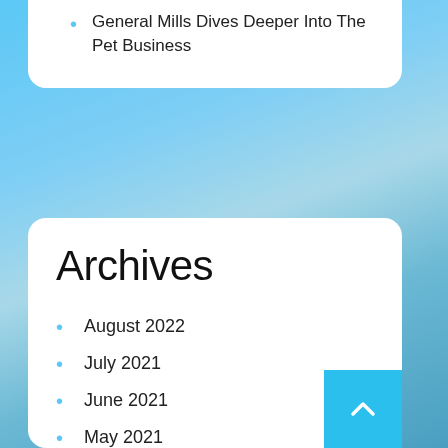General Mills Dives Deeper Into The Pet Business
Archives
August 2022
July 2021
June 2021
May 2021
April 2021
March 2021
January 2021